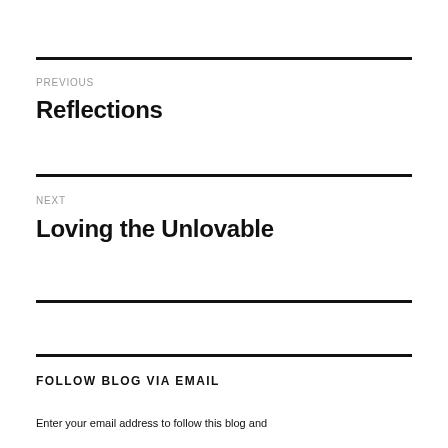PREVIOUS
Reflections
NEXT
Loving the Unlovable
FOLLOW BLOG VIA EMAIL
Enter your email address to follow this blog and